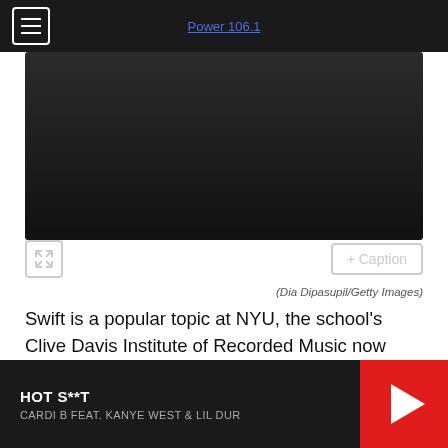Power 106.1
[Figure (screenshot): Dark video player with expand button and + Caption button overlay]
(Dia Dipasupil/Getty Images)
Swift is a popular topic at NYU, the school's Clive Davis Institute of Recorded Music now offers a course that focuses on her music and entrepreneurship, as we previously reported.
HOT S**T — CARDI B FEAT. KANYE WEST & LIL DUR